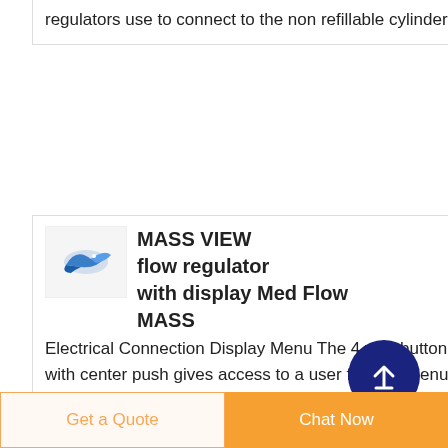regulators use to connect to the non refillable cylinders
MASS VIEW flow regulator with display Med Flow MASS
Electrical Connection Display Menu The 4 way button with center push gives access to a user friendly menu e g for zero function for selection of pre installed gases in pre installed ranges setting of engineering units alarm functions
Get a Quote | Chat Now